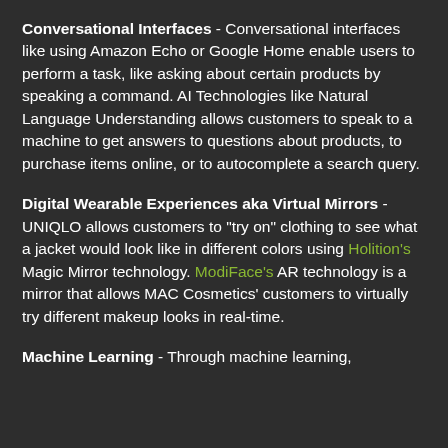Conversational Interfaces - Conversational interfaces like using Amazon Echo or Google Home enable users to perform a task, like asking about certain products by speaking a command. AI Technologies like Natural Language Understanding allows customers to speak to a machine to get answers to questions about products, to purchase items online, or to autocomplete a search query.
Digital Wearable Experiences aka Virtual Mirrors - UNIQLO allows customers to "try on" clothing to see what a jacket would look like in different colors using Holition's Magic Mirror technology. ModiFace's AR technology is a mirror that allows MAC Cosmetics' customers to virtually try different makeup looks in real-time.
Machine Learning - Through machine learning,